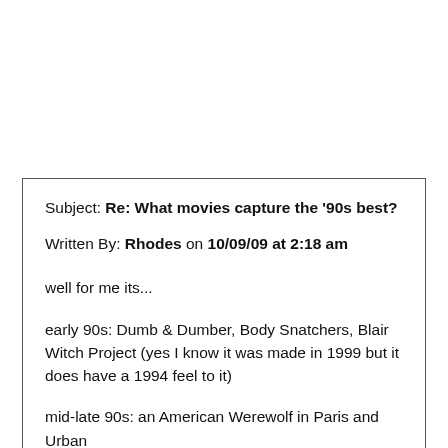Subject: Re: What movies capture the '90s best?
Written By: Rhodes on 10/09/09 at 2:18 am
well for me its...
early 90s: Dumb & Dumber, Body Snatchers, Blair Witch Project (yes I know it was made in 1999 but it does have a 1994 feel to it)
mid-late 90s: an American Werewolf in Paris and Urban